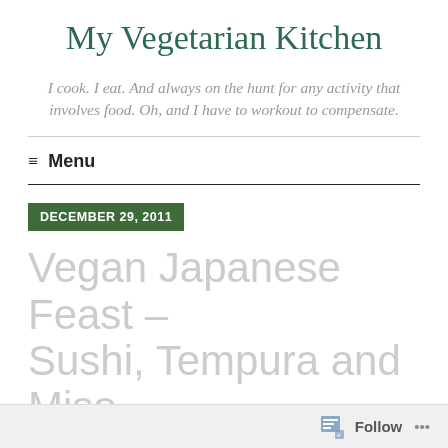My Vegetarian Kitchen
I cook. I eat. And always on the hunt for any activity that involves food. Oh, and I have to workout to compensate.
≡ Menu
DECEMBER 29, 2011
Vegan Japanese Feast – Sushi, Tempura and Miso Soup
Follow ...